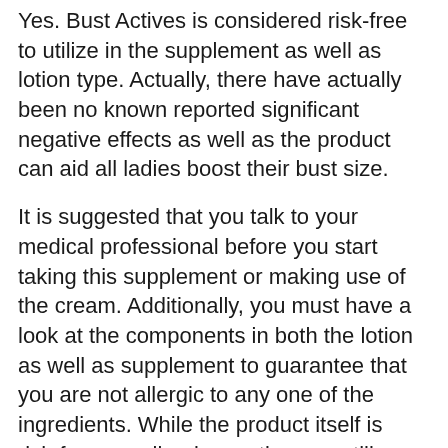Yes. Bust Actives is considered risk-free to utilize in the supplement as well as lotion type. Actually, there have actually been no known reported significant negative effects as well as the product can aid all ladies boost their bust size.
It is suggested that you talk to your medical professional before you start taking this supplement or making use of the cream. Additionally, you must have a look at the components in both the lotion as well as supplement to guarantee that you are not allergic to any one of the ingredients. While the product itself is risk-free, an allergic reaction can still happen because it is your body rejecting the ingredient that you have an allergy to.